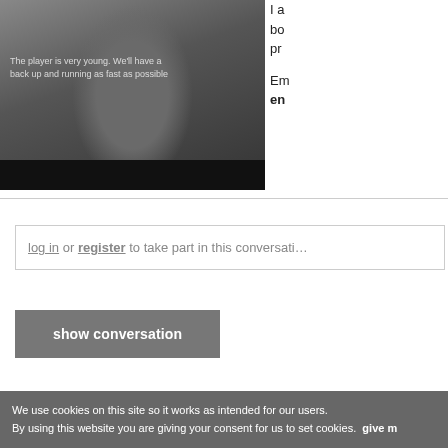[Figure (screenshot): Black and white video still of a person at a press conference or interview, with text overlay reading 'The player is very young. We'll have a back up and running as fast as possible']
I a bo pr Em en
log in or register to take part in this conversation
show conversation
We use cookies on this site so it works as intended for our users. By using this website you are giving your consent for us to set cookies. give m